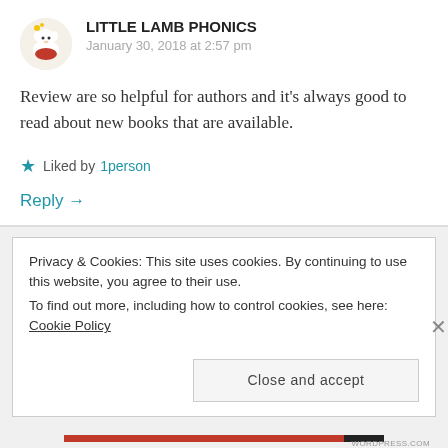LITTLE LAMB PHONICS
January 30, 2018 at 2:57 pm
Review are so helpful for authors and it’s always good to read about new books that are available.
Liked by 1person
Reply →
Privacy & Cookies: This site uses cookies. By continuing to use this website, you agree to their use. To find out more, including how to control cookies, see here: Cookie Policy
Close and accept